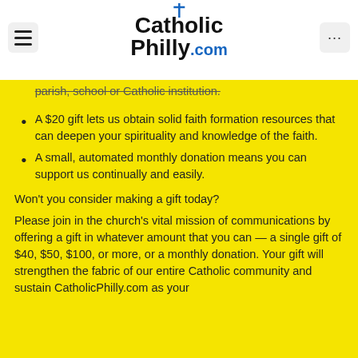CatholicPhilly.com
parish, school or Catholic institution.
A $20 gift lets us obtain solid faith formation resources that can deepen your spirituality and knowledge of the faith.
A small, automated monthly donation means you can support us continually and easily.
Won't you consider making a gift today?
Please join in the church's vital mission of communications by offering a gift in whatever amount that you can — a single gift of $40, $50, $100, or more, or a monthly donation. Your gift will strengthen the fabric of our entire Catholic community and sustain CatholicPhilly.com as your